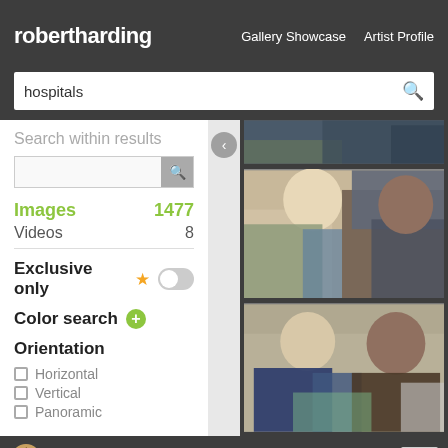robertharding   Gallery Showcase   Artist Profile
hospitals
Search within results
Images 1477
Videos 8
Exclusive only
Color search
Orientation
Horizontal
Vertical
Panoramic
[Figure (photo): Medical professional examining patient in clinical setting - top partial view]
[Figure (photo): Female healthcare worker examining a male patient's arm in a clinic]
[Figure (photo): Female healthcare worker consulting with male patient in a clinical room]
This website uses cookies.